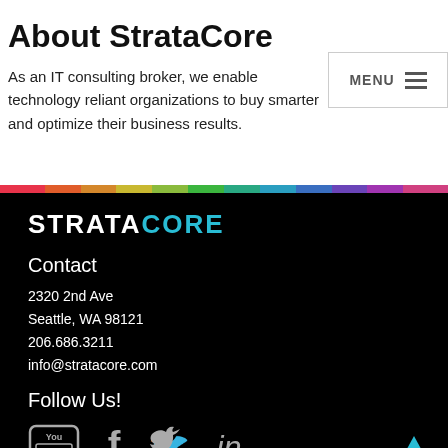About StrataCore
As an IT consulting broker, we enable technology reliant organizations to buy smarter and optimize their business results.
STRATACORE
Contact
2320 2nd Ave
Seattle, WA 98121
206.686.3211
info@stratacore.com
Follow Us!
[Figure (other): Social media icons: YouTube, Facebook, Twitter, LinkedIn]